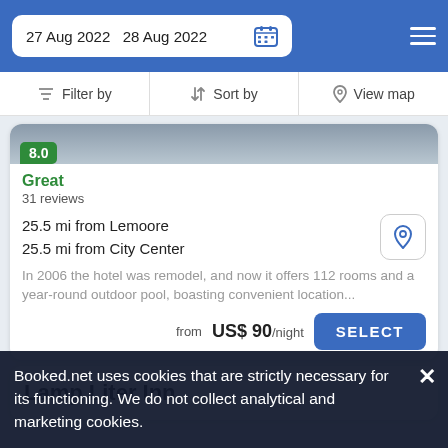27 Aug 2022  28 Aug 2022
Filter by  Sort by  View map
[Figure (screenshot): Partial hotel image with green score badge showing 8.0]
Great
31 reviews
25.5 mi from Lemoore
25.5 mi from City Center
In 2006 the hotel was remodel, and now it offers 112 rooms and a year-round outdoor pool, boasting convenient location...
from  US$ 90/night
SELECT
Lamp Liter Inn
Booked.net uses cookies that are strictly necessary for its functioning. We do not collect analytical and marketing cookies.